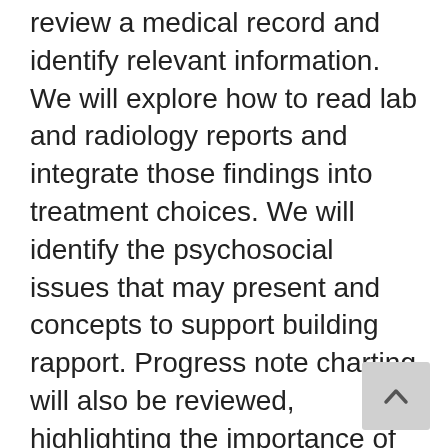review a medical record and identify relevant information. We will explore how to read lab and radiology reports and integrate those findings into treatment choices. We will identify the psychosocial issues that may present and concepts to support building rapport. Progress note charting will also be reviewed, highlighting the importance of documentation for the oncology patient.
Ericka Clinton, LMT is a NY State Licensed Massage Therapist since 1998. She has been a faculty member and administrator at the